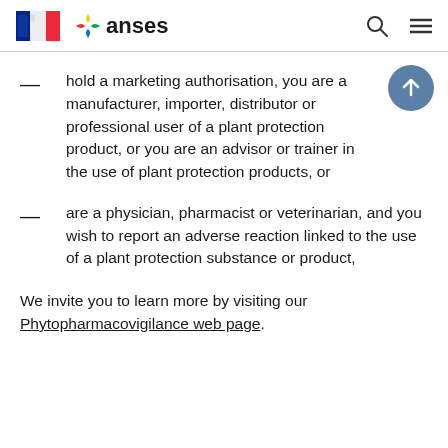anses
hold a marketing authorisation, you are a manufacturer, importer, distributor or professional user of a plant protection product, or you are an advisor or trainer in the use of plant protection products, or
are a physician, pharmacist or veterinarian, and you wish to report an adverse reaction linked to the use of a plant protection substance or product,
We invite you to learn more by visiting our Phytopharmacovigilance web page.